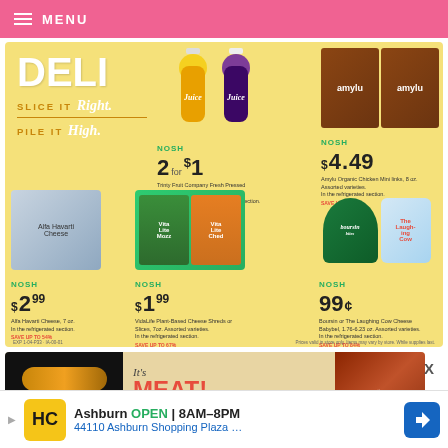MENU
[Figure (infographic): DELI promotional flyer section with headline 'DELI SLICE IT Right. PILE IT High.' featuring Nosh branded juice 2 for $1, Amylu Organic Chicken Mini links $4.49, Alfa Havarti Cheese $2.99, VidaLife Plant-Based Cheese Shreds $1.99, Boursin or Laughing Cow Cheese 99 cents]
[Figure (infographic): IT'S MEAT! promotional section with meat product image and ribs photo]
Ashburn OPEN 8AM–8PM 44110 Ashburn Shopping Plaza …